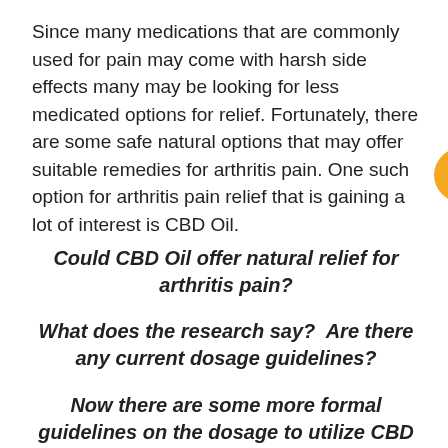Since many medications that are commonly used for pain may come with harsh side effects many may be looking for less medicated options for relief. Fortunately, there are some safe natural options that may offer suitable remedies for arthritis pain. One such option for arthritis pain relief that is gaining a lot of interest is CBD Oil.
[Figure (illustration): Four social media icon circles overlaid on the text: RSS (orange), Email/Follow (gray), YouTube (red), Pinterest (red)]
Could CBD Oil offer natural relief for arthritis pain?
What does the research say?  Are there any current dosage guidelines?
Now there are some more formal guidelines on the dosage to utilize CBD for arthritis pain.